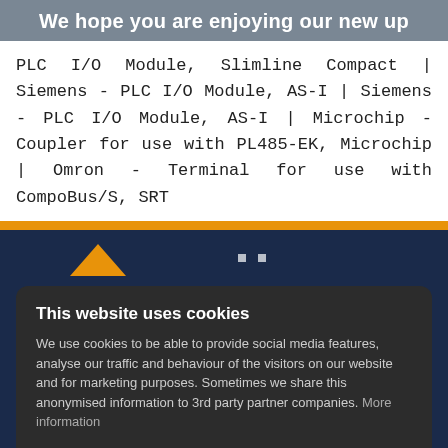We hope you are enjoying our new up
PLC I/O Module, Slimline Compact | Siemens - PLC I/O Module, AS-I | Siemens - PLC I/O Module, AS-I | Microchip - Coupler for use with PL485-EK, Microchip | Omron - Terminal for use with CompoBus/S, SRT
This website uses cookies
We use cookies to be able to provide social media features, analyse our traffic and behaviour of the visitors on our website and for marketing purposes. Sometimes we share this anonymised information to 3rd party partner companies. More information
I accept all Cookies
Change settings
News & Blogs